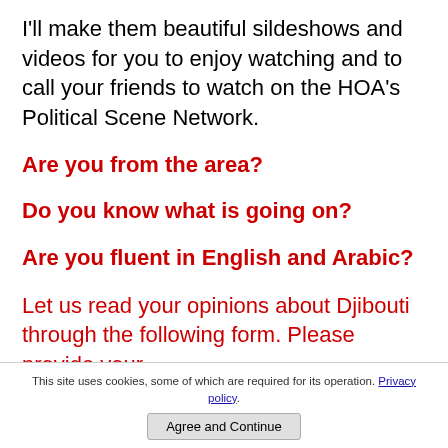I'll make them beautiful sildeshows and videos for you to enjoy watching and to call your friends to watch on the HOA's Political Scene Network.
Are you from the area?
Do you know what is going on?
Are you fluent in English and Arabic?
Let us read your opinions about Djibouti through the following form. Please provide your
This site uses cookies, some of which are required for its operation. Privacy policy. Agree and Continue